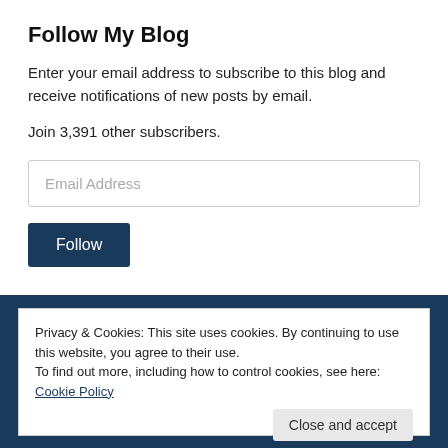Follow My Blog
Enter your email address to subscribe to this blog and receive notifications of new posts by email.
Join 3,391 other subscribers.
Email Address
Follow
Privacy & Cookies: This site uses cookies. By continuing to use this website, you agree to their use.
To find out more, including how to control cookies, see here: Cookie Policy
Close and accept